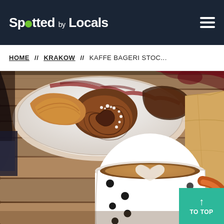Spotted by Locals
HOME // KRAKOW // KAFFE BAGERI STOC...
[Figure (photo): Overhead and close-up photo of pastries (cinnamon rolls, croissants) on a white plate on a wooden table, with a white polka-dot mug of latte art (heart design) in the foreground and a brown paper bag to the right]
TO TOP